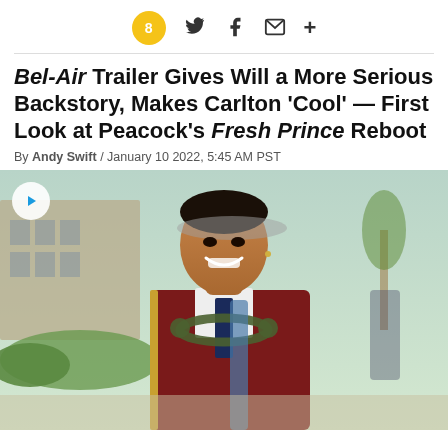8 [social share icons: Twitter, Facebook, Email, More]
Bel-Air Trailer Gives Will a More Serious Backstory, Makes Carlton 'Cool' — First Look at Peacock's Fresh Prince Reboot
By Andy Swift / January 10 2022, 5:45 AM PST
[Figure (photo): A smiling young man in a school uniform (dark red blazer with gold trim, white shirt, dark tie) wearing headphones around his neck and carrying a bag, on a sunny campus. A play button overlay is in the top-left corner.]